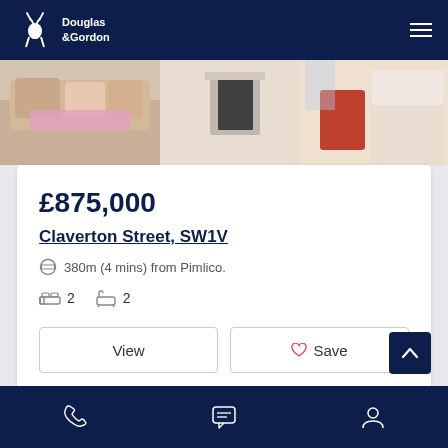Douglas & Gordon
[Figure (photo): Interior room photo showing sofa with cushions, fireplace, and dining area with red chair]
£875,000
Claverton Street, SW1V
380m (4 mins) from Pimlico.
2  2
View
Save
Phone | Chat | Account